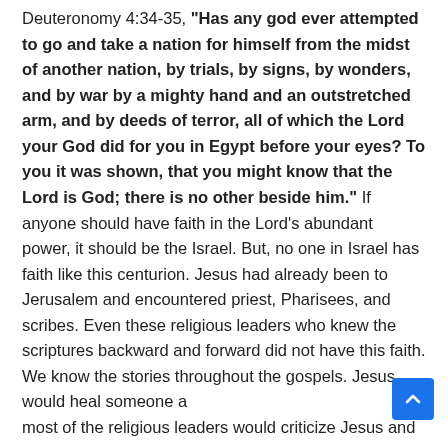Deuteronomy 4:34-35, "Has any god ever attempted to go and take a nation for himself from the midst of another nation, by trials, by signs, by wonders, and by war by a mighty hand and an outstretched arm, and by deeds of terror, all of which the Lord your God did for you in Egypt before your eyes? To you it was shown, that you might know that the Lord is God; there is no other beside him." If anyone should have faith in the Lord's abundant power, it should be the Israel. But, no one in Israel has faith like this centurion. Jesus had already been to Jerusalem and encountered priest, Pharisees, and scribes. Even these religious leaders who knew the scriptures backward and forward did not have this faith. We know the stories throughout the gospels. Jesus would heal someone and most of the religious leaders would criticize Jesus and